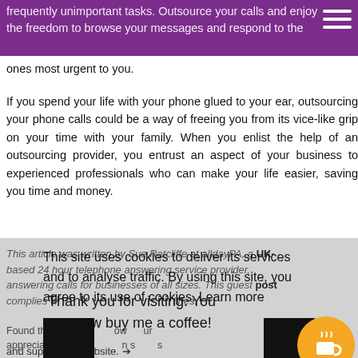frequently unimportant tasks. Outsource your calls and enjoy the freedom to browse your messages and respond to the ones most urgent to you.
If you spend your life with your phone glued to your ear, outsourcing your phone calls could be a way of freeing you from its vice-like grip on your time with your family. When you enlist the help of an outsourcing provider, you entrust an aspect of your business to experienced professionals who can make your life easier, saving you time and money.
This article was written by Sue Ratcliffe at alldayPA, a UK-based 24 hour telephone answering service provider, answering calls for businesses of all sizes. This guest post complies with guidelines.
This site uses cookies to deliver its services and to analyse traffic. By using this site, you agree to its use of cookies. Learn more
Thank you for visiting. You can now buy me a coffee!
Found this and support my website. →